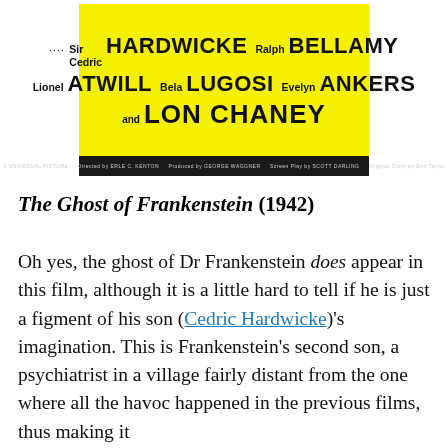[Figure (photo): Movie poster for The Ghost of Frankenstein (1942) showing a yellow background with actor credits: Sir Cedric Hardwicke, Ralph Bellamy, Lionel Atwill, Bela Lugosi, Evelyn Ankers, and Lon Chaney. Below is a black bar with Universal Picture credits.]
The Ghost of Frankenstein (1942)
Oh yes, the ghost of Dr Frankenstein does appear in this film, although it is a little hard to tell if he is just a figment of his son (Cedric Hardwicke)'s imagination. This is Frankenstein's second son, a psychiatrist in a village fairly distant from the one where all the havoc happened in the previous films, thus making it